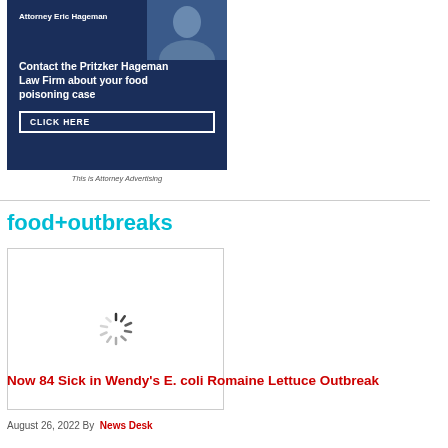[Figure (photo): Advertisement for Pritzker Hageman Law Firm featuring Attorney Eric Hageman, with a dark navy background]
Attorney Eric Hageman
Contact the Pritzker Hageman Law Firm about your food poisoning case
CLICK HERE
This is Attorney Advertising
food+outbreaks
[Figure (photo): Loading spinner / image placeholder for article]
Now 84 Sick in Wendy's E. coli Romaine Lettuce Outbreak
August 26, 2022 By  News Desk